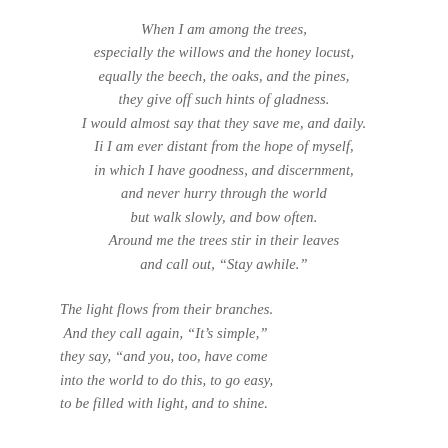When I am among the trees,
especially the willows and the honey locust,
equally the beech, the oaks, and the pines,
they give off such hints of gladness.
I would almost say that they save me, and daily.
Ii I am ever distant from the hope of myself,
in which I have goodness, and discernment,
and never hurry through the world
but walk slowly, and bow often.
Around me the trees stir in their leaves
and call out, “Stay awhile.”

The light flows from their branches.
And they call again, “It’s simple,”
they say, “and you, too, have come
into the world to do this, to go easy,
to be filled with light, and to shine.